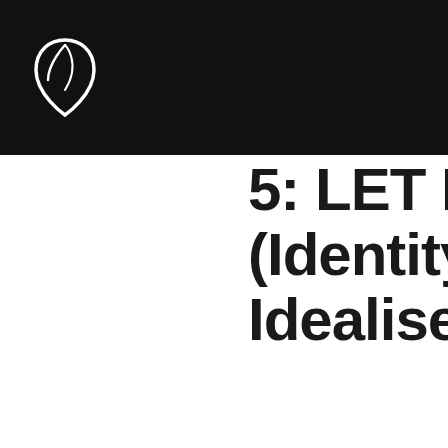CZ | EN
5: LET IT BE (Identity, Idealised)
Peace. Acceptance. Simplicity. Letting go of trend and style to let the brand be what it is. This is an essentialist design trend in...
[Figure (photo): Sepia-toned photo of two people, one wearing a bag that reads 'ALL I NEED' in black marker-style text]